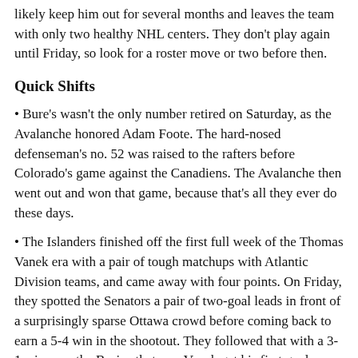likely keep him out for several months and leaves the team with only two healthy NHL centers. They don't play again until Friday, so look for a roster move or two before then.
Quick Shifts
• Bure's wasn't the only number retired on Saturday, as the Avalanche honored Adam Foote. The hard-nosed defenseman's no. 52 was raised to the rafters before Colorado's game against the Canadiens. The Avalanche then went out and won that game, because that's all they ever do these days.
• The Islanders finished off the first full week of the Thomas Vanek era with a pair of tough matchups with Atlantic Division teams, and came away with four points. On Friday, they spotted the Senators a pair of two-goal leads in front of a surprisingly sparse Ottawa crowd before coming back to earn a 5-4 win in the shootout. They followed that with a 3-1 win over the Bruins that saw Vanek get his first goal as an Islander.